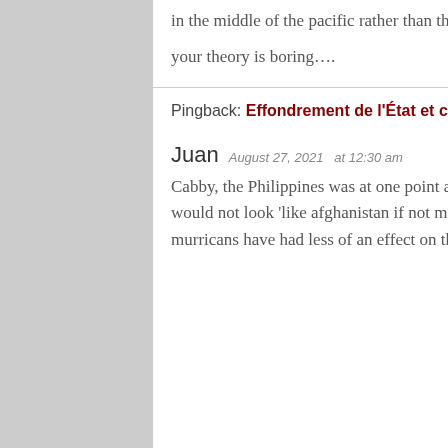in the middle of the pacific rather than the heart of mackinder's eurasia.
your theory is boring….
Pingback: Effondrement de l'État et construction de nation en Afghanistan – Vers où va-t-on ?
Juan  August 27, 2021  at 12:30 am
Cabby, the Philippines was at one point a major trade hub because of the Spanish (300 years). So no, it would not look 'like afghanistan if not mainly for american and japanese efforts.' Overall, the japs and the murricans have had less of an effect on the